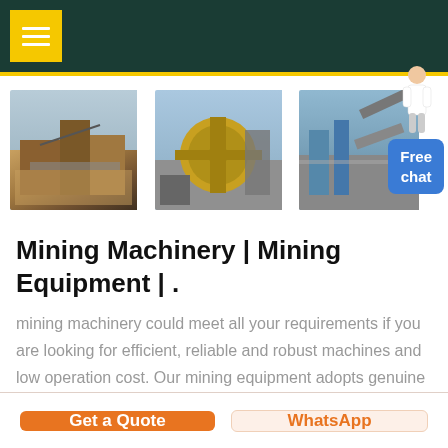Navigation header with hamburger menu
[Figure (photo): Three photos of mining equipment: a crusher/screening plant, a yellow ball mill, and a conveyor/processing facility]
Mining Machinery | Mining Equipment | .
mining machinery could meet all your requirements if you are looking for efficient, reliable and robust machines and low operation cost. Our mining equipment adopts genuine components provided by world famous
Get a Quote   WhatsApp